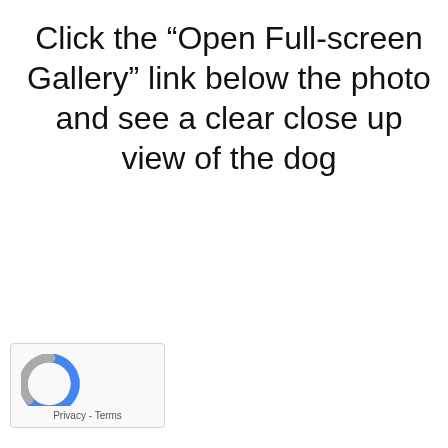Click the “Open Full-screen Gallery” link below the photo and see a clear close up view of the dog
[Figure (logo): reCAPTCHA widget with circular arrow logo icon and Privacy - Terms links below]